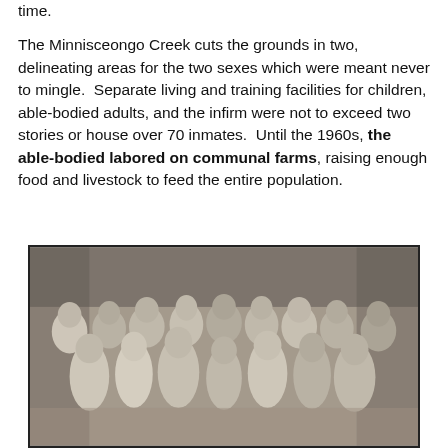time.

The Minnisceongo Creek cuts the grounds in two, delineating areas for the two sexes which were meant never to mingle.  Separate living and training facilities for children, able-bodied adults, and the infirm were not to exceed two stories or house over 70 inmates.  Until the 1960s, the able-bodied labored on communal farms, raising enough food and livestock to feed the entire population.
[Figure (photo): Black and white historical photograph of a large group of children, boys and girls, standing together outdoors. The children appear to be from the early-to-mid 20th century based on their clothing styles.]